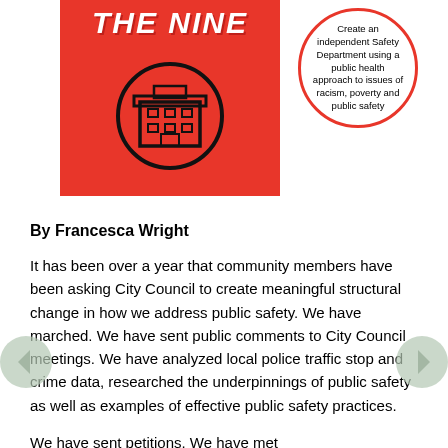[Figure (illustration): Red square graphic with 'THE NINE' text in white italic bold letters and a black circle containing a building/city hall icon]
[Figure (infographic): Circle badge with red border containing text: 'Create an independent Safety Department using a public health approach to issues of racism, poverty and public safety']
By Francesca Wright
It has been over a year that community members have been asking City Council to create meaningful structural change in how we address public safety. We have marched. We have sent public comments to City Council meetings. We have analyzed local police traffic stop and crime data, researched the underpinnings of public safety as well as examples of effective public safety practices.
We have sent petitions. We have met